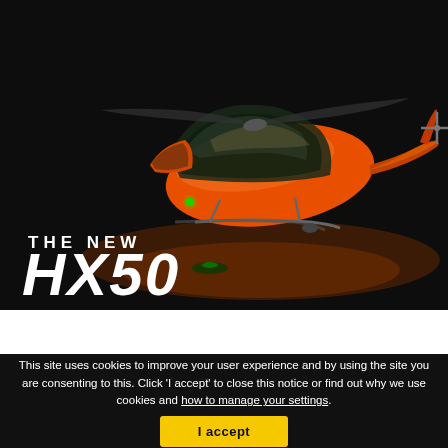[Figure (photo): Orange HX50 helicopter on dark studio background with dramatic lighting, shown from a 3/4 rear-left angle. Text overlaid on image reads 'THE NEW' and 'HX50' in white bold italic letters.]
This site uses cookies to improve your user experience and by using the site you are consenting to this. Click 'I accept' to close this notice or find out why we use cookies and how to manage your settings.
I accept